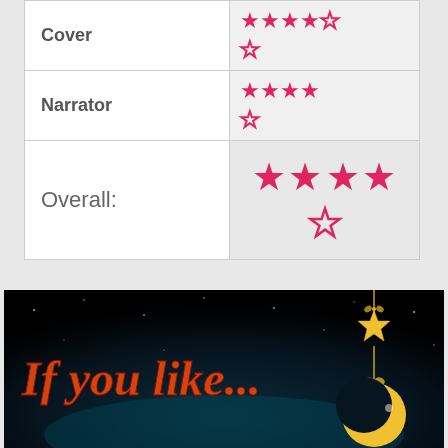| Category | Rating |
| --- | --- |
| Cover | 4 out of 5 stars |
| Narrator | 4 out of 5 stars |
| Overall: | 4 out of 5 stars (larger) |
[Figure (illustration): Dark night sky banner with golden crescent moon, hanging stars, and the text 'If you like...' in orange/pink fantasy font]